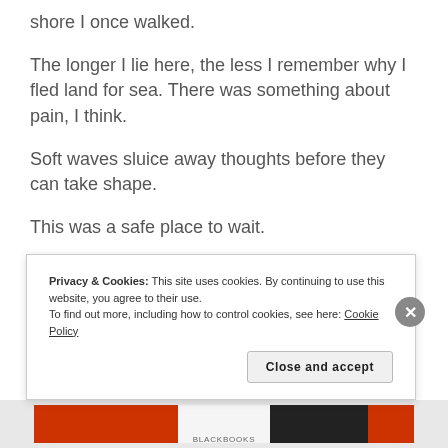shore I once walked.
The longer I lie here, the less I remember why I fled land for sea. There was something about pain, I think.
Soft waves sluice away thoughts before they can take shape.
This was a safe place to wait.
But there’s no longer a shoreline on my horizon.
Panic hears the skip of my heartbeat as a starter gun,
Privacy & Cookies: This site uses cookies. By continuing to use this website, you agree to their use. To find out more, including how to control cookies, see here: Cookie Policy
Close and accept